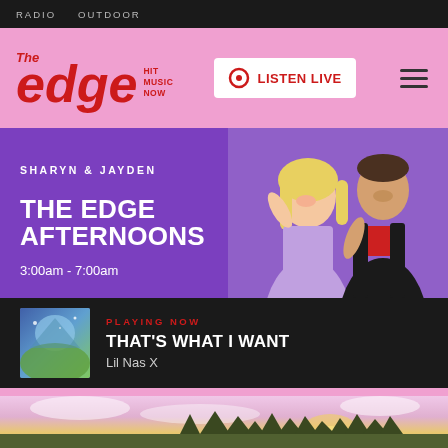RADIO   OUTDOOR
[Figure (logo): The Edge Hit Music Now logo in red on pink background, with Listen Live button and hamburger menu]
[Figure (photo): Sharyn and Jayden, hosts of The Edge Afternoons, smiling on a purple background]
SHARYN & JAYDEN
THE EDGE AFTERNOONS
3:00am - 7:00am
[Figure (photo): Album art for That's What I Want by Lil Nas X]
PLAYING NOW
THAT'S WHAT I WANT
Lil Nas X
[Figure (photo): Sunset landscape with trees and cloudy sky at bottom of page]